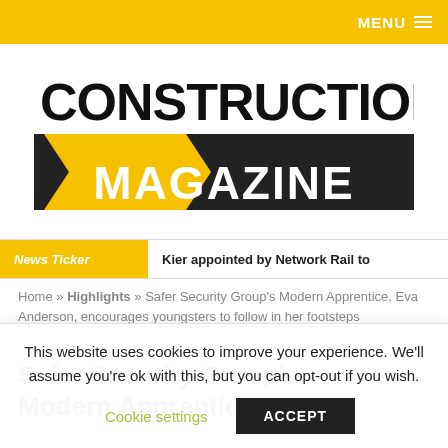MENU
[Figure (logo): Construction UK Magazine logo with yellow chevron arrows and dark background]
News Ticker   Kier appointed by Network Rail to
Home » Highlights » Safer Security Group's Modern Apprentice, Eva Anderson, encourages youngsters to follow in her footsteps
Safer Security Group's Modern Apprentice, Eva
This website uses cookies to improve your experience. We'll assume you're ok with this, but you can opt-out if you wish.
Cookie settings   ACCEPT